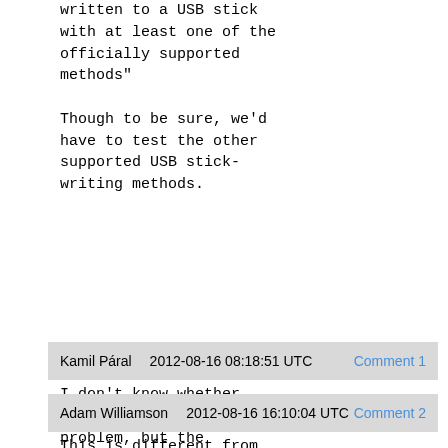written to a USB stick with at least one of the officially supported methods"

Though to be sure, we'd have to test the other supported USB stick-writing methods.
Kamil Páral    2012-08-16 08:18:51 UTC    Comment 1
I don't know whether there is a USB-related problem, but the original DVD doesn't boot either -  bug 848682 .
Adam Williamson    2012-08-16 16:10:04 UTC    Comment 2
This is different from that. That's when it